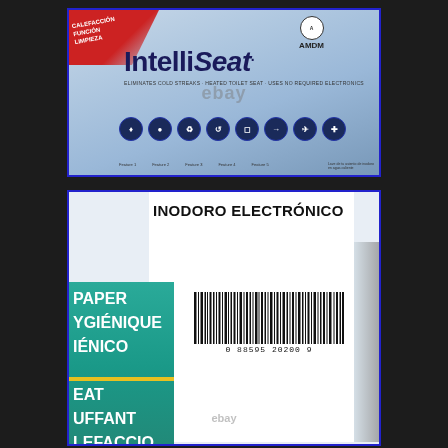[Figure (photo): Top photo of IntelliSeat electronic toilet seat product box. Shows AMDM logo, IntelliSeat brand name in large bold-italic text, product feature icons in dark blue circles, ebay watermark overlay.]
[Figure (photo): Bottom photo of IntelliSeat product box showing 'INODORO ELECTRÓNICO' label, teal green panel with multilingual text (PAPER, HYGIÉNIQUE, HIÉNICO, SEAT, BOUFFANT, CALEFACCIO), a UPC barcode '0 88595 20200 9', and ebay watermark.]